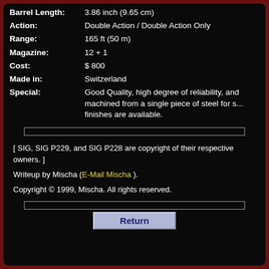| Field | Value |
| --- | --- |
| Barrel Length: | 3.86 inch (9.65 cm) |
| Action: | Double Action / Double Action Only |
| Range: | 165 ft (50 m) |
| Magazine: | 12 + 1 |
| Cost: | $ 800 |
| Made in: | Switzerland |
| Special: | Good Quality, high degree of reliability, and machined from a single piece of steel for s... finishes are available. |
[ SIG, SIG P229, and SIG P228 are copyright of their respective owners. ]
Writeup by Mischa (E-Mail Mischa).
Copyright © 1999, Mischa. All rights reserved.